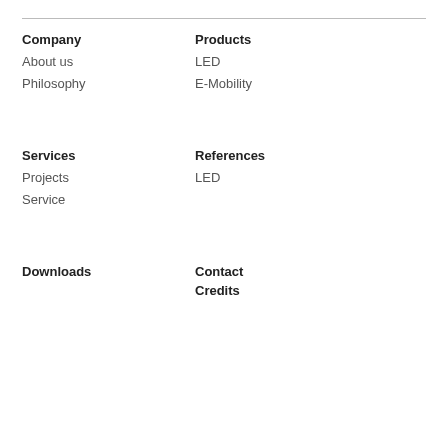Company
About us
Philosophy
Products
LED
E-Mobility
Services
Projects
Service
References
LED
Downloads
Contact
Credits